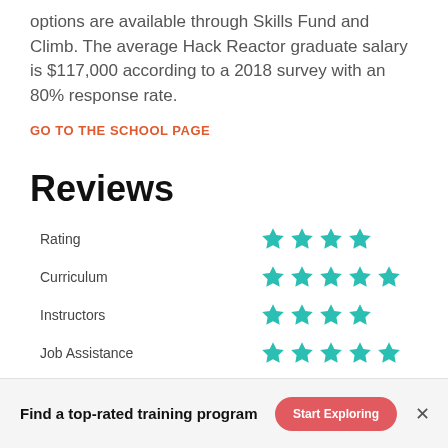options are available through Skills Fund and Climb. The average Hack Reactor graduate salary is $117,000 according to a 2018 survey with an 80% response rate.
GO TO THE SCHOOL PAGE
Reviews
| Category | Rating |
| --- | --- |
| Rating | 4 stars |
| Curriculum | 5 stars |
| Instructors | 4 stars |
| Job Assistance | 5 stars |
Find a top-rated training program  [Start Exploring]  X